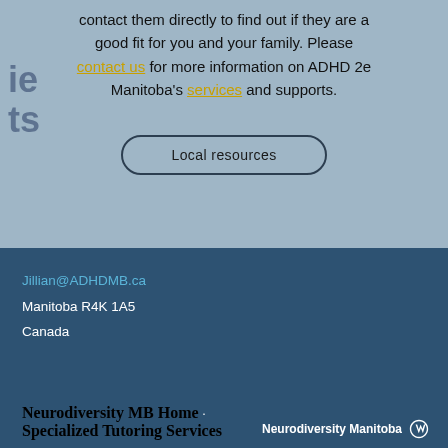contact them directly to find out if they are a good fit for you and your family. Please contact us for more information on ADHD 2e Manitoba's services and supports.
Local resources
Jillian@ADHDMB.ca
Manitoba R4K 1A5
Canada
Neurodiversity MB Home · Specialized Tutoring Services | Neurodiversity Manitoba